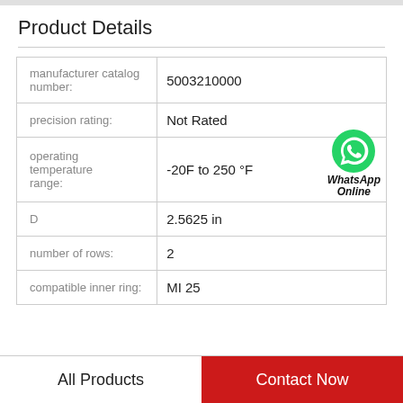Product Details
|  |  |
| --- | --- |
| manufacturer catalog number: | 5003210000 |
| precision rating: | Not Rated |
| operating temperature range: | -20F to 250 °F |
| D | 2.5625 in |
| number of rows: | 2 |
| compatible inner ring: | MI 25 |
[Figure (logo): WhatsApp Online badge with green phone icon and bold italic text]
All Products    Contact Now